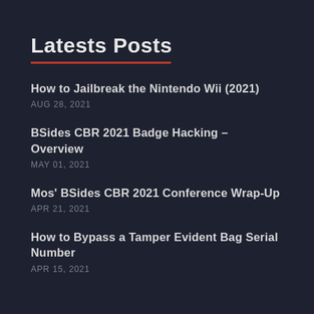Latests Posts
How to Jailbreak the Nintendo Wii (2021)
AUG 28, 2021
BSides CBR 2021 Badge Hacking – Overview
MAY 01, 2021
Mos' BSides CBR 2021 Conference Wrap-Up
APR 21, 2021
How to Bypass a Tamper Evident Bag Serial Number
APR 15, 2021